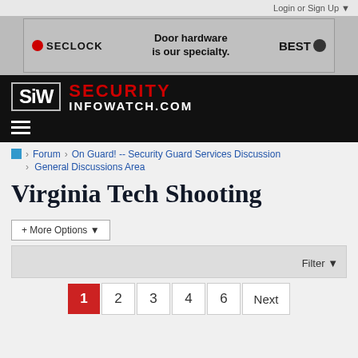Login or Sign Up ▼
[Figure (screenshot): SECLOCK advertisement banner: 'Door hardware is our specialty.' with BEST logo]
[Figure (logo): SIW Security Infowatch.com logo on black navigation bar with hamburger menu]
Forum > On Guard! -- Security Guard Services Discussion > General Discussions Area
Virginia Tech Shooting
+ More Options ▾
Filter ▼
1  2  3  4  6  Next